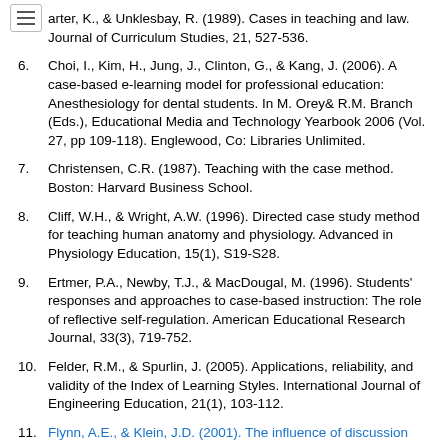Carter, K., & Unklesbay, R. (1989). Cases in teaching and law. Journal of Curriculum Studies, 21, 527-536.
6. Choi, I., Kim, H., Jung, J., Clinton, G., & Kang, J. (2006). A case-based e-learning model for professional education: Anesthesiology for dental students. In M. Orey& R.M. Branch (Eds.), Educational Media and Technology Yearbook 2006 (Vol. 27, pp 109-118). Englewood, Co: Libraries Unlimited.
7. Christensen, C.R. (1987). Teaching with the case method. Boston: Harvard Business School.
8. Cliff, W.H., & Wright, A.W. (1996). Directed case study method for teaching human anatomy and physiology. Advanced in Physiology Education, 15(1), S19-S28.
9. Ertmer, P.A., Newby, T.J., & MacDougal, M. (1996). Students' responses and approaches to case-based instruction: The role of reflective self-regulation. American Educational Research Journal, 33(3), 719-752.
10. Felder, R.M., & Spurlin, J. (2005). Applications, reliability, and validity of the Index of Learning Styles. International Journal of Engineering Education, 21(1), 103-112.
11. Flynn, A.E., & Klein, J.D. (2001). The influence of discussion